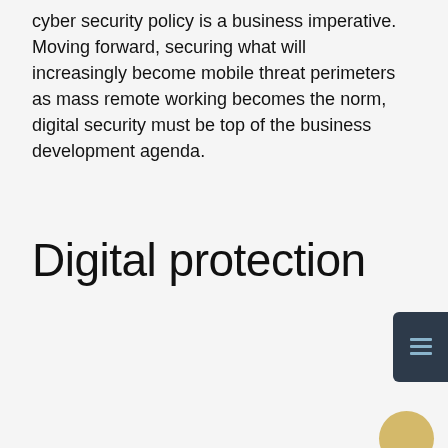cyber security policy is a business imperative. Moving forward, securing what will increasingly become mobile threat perimeters as mass remote working becomes the norm, digital security must be top of the business development agenda.
Digital protection
[Figure (screenshot): Cookie Notice modal dialog with dark navy background. Contains title 'Cookie Notice', a close button (×), body text about cookies, a 'Cookies policy' link, an 'Accept Cookies' button in gold/yellow, and a 'Cookies Settings' underlined link.]